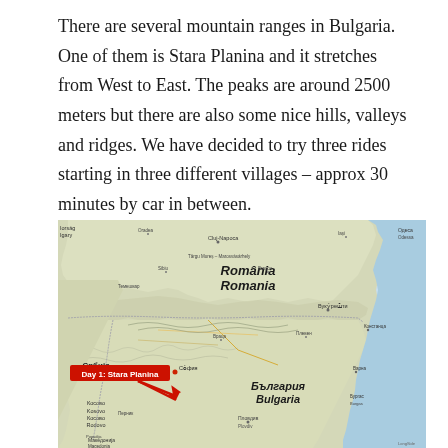There are several mountain ranges in Bulgaria. One of them is Stara Planina and it stretches from West to East. The peaks are around 2500 meters but there are also some nice hills, valleys and ridges. We have decided to try three rides starting in three different villages – approx 30 minutes by car in between.
[Figure (map): Map showing Romania and Bulgaria region with a red label 'Day 1: Stara Planina' and a red arrow pointing to Sofia area in Bulgaria. Also shows Serbia, Black Sea coast, and surrounding areas with city labels.]